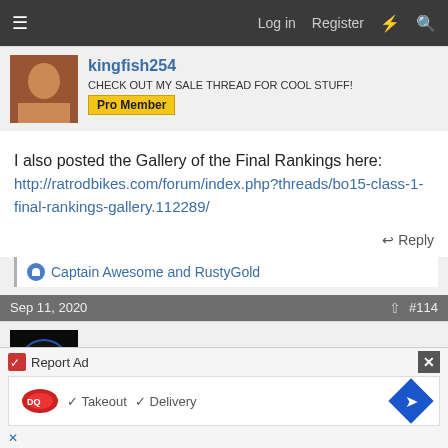Log in  Register
kingfish254
CHECK OUT MY SALE THREAD FOR COOL STUFF!
Pro Member
I also posted the Gallery of the Final Rankings here:
http://ratrodbikes.com/forum/index.php?threads/bo15-class-1-final-rankings-gallery.112289/
Reply
Captain Awesome and RustyGold
Sep 11, 2020  #114
outskirtscustoms
Report Ad